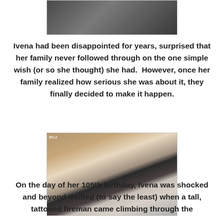[Figure (photo): Partial photo at top of page showing a person with balloons, cropped]
Ivena had been disappointed for years, surprised that her family never followed through on the one simple wish (or so she thought) she had.  However, once her family realized how serious she was about it, they finally decided to make it happen.
[Figure (photo): Photo of elderly woman seated receiving a birthday cake from a tattooed man in uniform, another elderly woman standing nearby, balloons in background]
On the day of her 105th birthday, Ivena was shocked and beyond thrilled (to say the least) when a tall, tattooed fireman came climbing through the